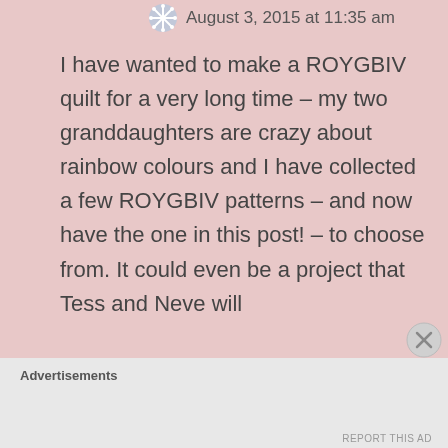August 3, 2015 at 11:35 am
I have wanted to make a ROYGBIV quilt for a very long time – my two granddaughters are crazy about rainbow colours and I have collected a few ROYGBIV patterns – and now have the one in this post! – to choose from. It could even be a project that Tess and Neve will
Advertisements
REPORT THIS AD